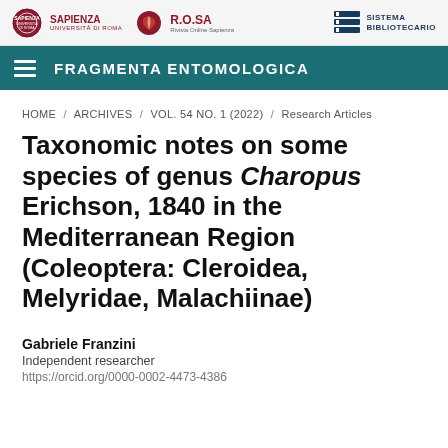[Figure (logo): Sapienza Università di Roma and R.O.SA Rivista Online Sapienza logos on the left, Sistema Bibliotecario logo on the right, in a light grey header bar]
FRAGMENTA ENTOMOLOGICA
HOME / ARCHIVES / VOL. 54 NO. 1 (2022) / Research Articles
Taxonomic notes on some species of genus Charopus Erichson, 1840 in the Mediterranean Region (Coleoptera: Cleroidea, Melyridae, Malachiinae)
Gabriele Franzini
Independent researcher
https://orcid.org/0000-0002-4473-4386